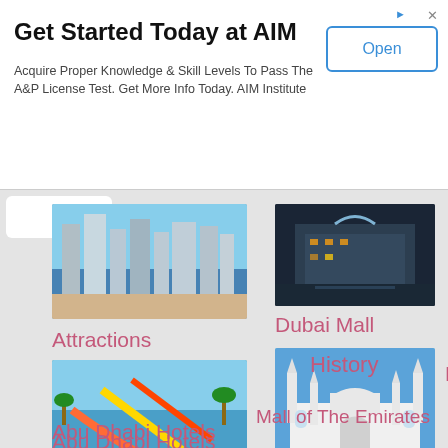[Figure (infographic): Advertisement banner: Get Started Today at AIM with Open button]
Get Started Today at AIM
Acquire Proper Knowledge & Skill Levels To Pass The A&P License Test. Get More Info Today. AIM Institute
[Figure (photo): Dubai skyline with beach and high-rise buildings]
Attractions
[Figure (photo): Dubai Mall exterior at night with fountains]
Dubai Mall
[Figure (photo): Water park with colorful slides and attractions]
[Figure (photo): White mosque with minarets against blue sky]
History
Things To Do
[Figure (photo): Interior of a large shopping mall with multiple floors]
Mall of The Emirates
[Figure (photo): Emirates Palace Hotel Abu Dhabi exterior]
Abu Dhabi Hotels